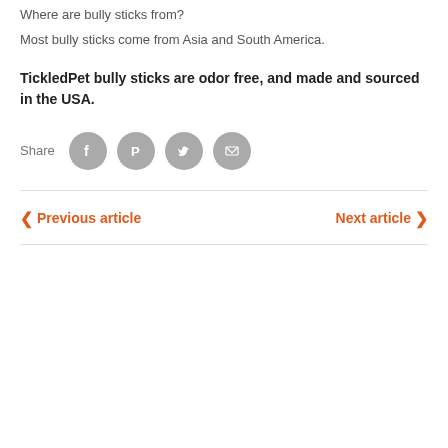Where are bully sticks from?
Most bully sticks come from Asia and South America.
TickledPet bully sticks are odor free, and made and sourced in the USA.
[Figure (infographic): Share icons row: Share label followed by Facebook, Pinterest, Twitter, and Email circular icons in gray]
< Previous article
Next article >